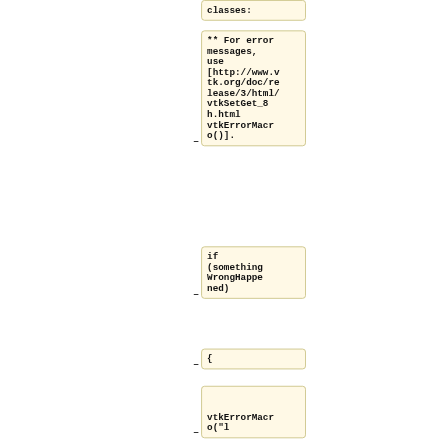classes:
** For error messages, use [http://www.vtk.org/doc/release/3/html/vtkSetGet_8h.html vtkErrorMacro()].
if (somethingWrongHappened)
{
vtkErrorMacro("l